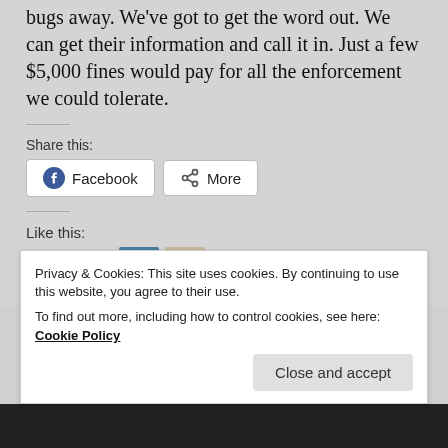bugs away. We've got to get the word out. We can get their information and call it in. Just a few $5,000 fines would pay for all the enforcement we could tolerate.
Share this:
Like this:
2 bloggers like this.
Privacy & Cookies: This site uses cookies. By continuing to use this website, you agree to their use.
To find out more, including how to control cookies, see here: Cookie Policy